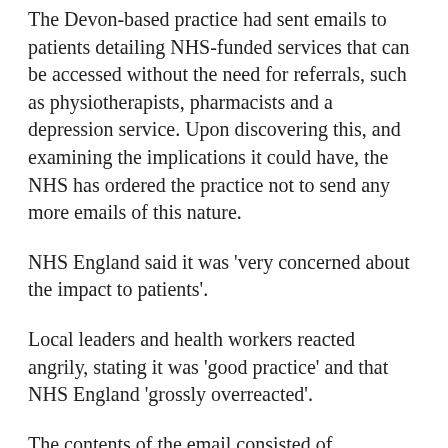The Devon-based practice had sent emails to patients detailing NHS-funded services that can be accessed without the need for referrals, such as physiotherapists, pharmacists and a depression service. Upon discovering this, and examining the implications it could have, the NHS has ordered the practice not to send any more emails of this nature.
NHS England said it was 'very concerned about the impact to patients'.
Local leaders and health workers reacted angrily, stating it was 'good practice' and that NHS England 'grossly overreacted'.
The contents of the email consisted of explaining the problem of having an ageing population with chronic and complex illnesses, thus the demand for